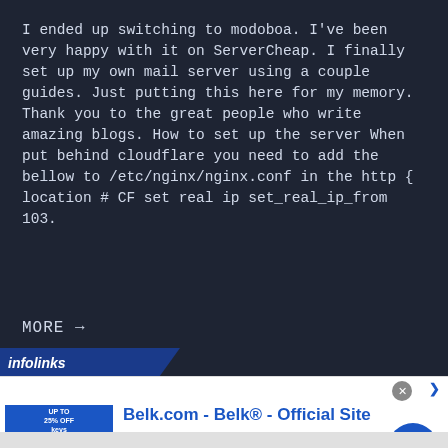I ended up switching to modoboa. I've been very happy with it on ServerCheap. I finally set up my own mail server using a couple guides. Just putting this here for my memory. Thank you to the great people who write amazing blogs. How to set up the server When put behind cloudflare you need to add the bellow to /etc/nginx/nginx.conf in the http { location # CF set real ip set_real_ip_from 103.
MORE →
[Figure (screenshot): Infolinks advertisement bar with logo and Belk.com advertisement showing clothing/bedding products]